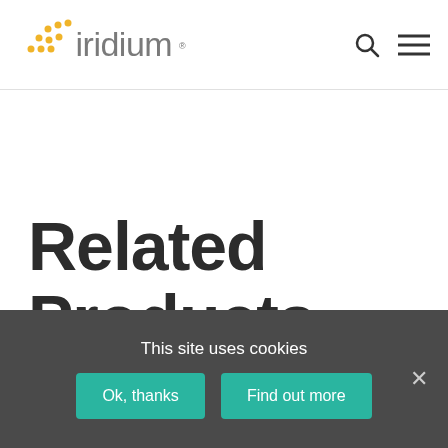iridium
Related Products
Back To
This site uses cookies
Ok, thanks
Find out more